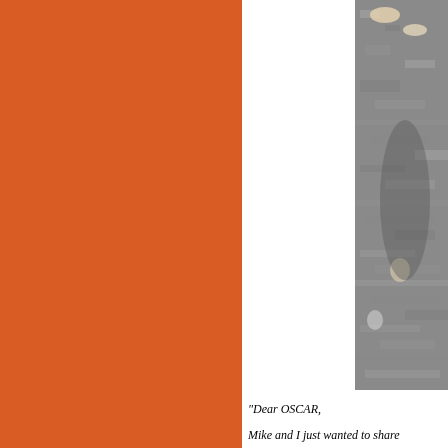[Figure (illustration): Large solid orange/burnt-orange colored rectangular panel occupying the left side of the page]
[Figure (photo): Partial photograph on the right side showing what appears to be a cat or animal on a grey textured surface (pavement or carpet), cropped on the right edge]
"Dear OSCAR,

Mike and I just wanted to share